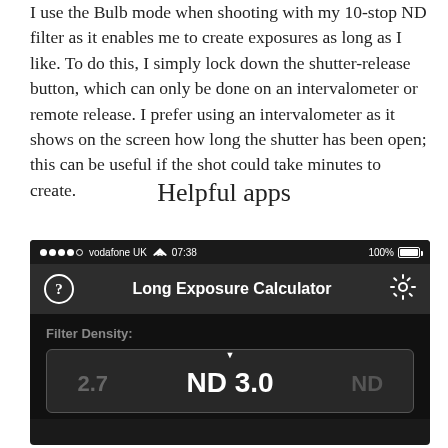I use the Bulb mode when shooting with my 10-stop ND filter as it enables me to create exposures as long as I like. To do this, I simply lock down the shutter-release button, which can only be done on an intervalometer or remote release. I prefer using an intervalometer as it shows on the screen how long the shutter has been open; this can be useful if the shot could take minutes to create.
Helpful apps
[Figure (screenshot): Screenshot of a smartphone app called 'Long Exposure Calculator' showing a dark interface with status bar (vodafone UK, 07:38, 100% battery), app header with question mark and gear icons, Filter Density label, and a picker showing ND 3.0 with 2.7 on the left and ND on the right.]